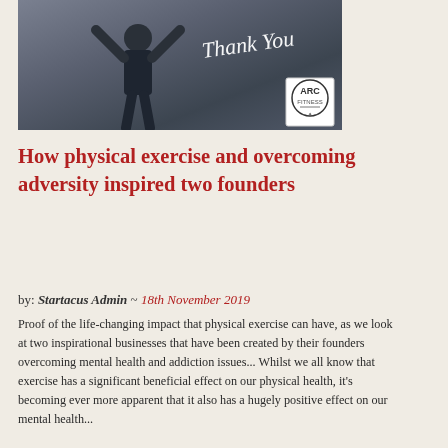[Figure (photo): A man in a black ARC Fitness t-shirt with arms raised, with 'Thank You' cursive text overlay and ARC Fitness logo badge in bottom-right corner]
How physical exercise and overcoming adversity inspired two founders
by: Startacus Admin ~ 18th November 2019
Proof of the life-changing impact that physical exercise can have, as we look at two inspirational businesses that have been created by their founders overcoming mental health and addiction issues... Whilst we all know that exercise has a significant beneficial effect on our physical health, it's becoming ever more apparent that it also has a hugely positive effect on our mental health...
Read Post »
[Figure (photo): Black and white photo showing what appears to be a building or storefront exterior]